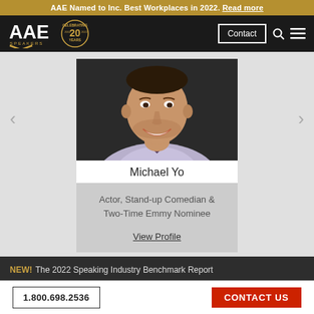AAE Named to Inc. Best Workplaces in 2022. Read more
[Figure (logo): AAE Speakers logo with 'Celebrating 20 Years' badge on dark navigation bar with Contact button, search icon, and hamburger menu]
[Figure (photo): Photo of Michael Yo, smiling man in light purple blazer]
Michael Yo
Actor, Stand-up Comedian & Two-Time Emmy Nominee
View Profile
NEW! The 2022 Speaking Industry Benchmark Report
1.800.698.2536  CONTACT US